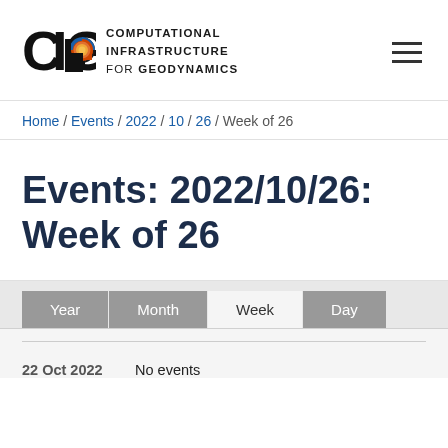[Figure (logo): CIG - Computational Infrastructure for Geodynamics logo with circular geodynamics icon and text]
Home / Events / 2022 / 10 / 26 / Week of 26
Events: 2022/10/26: Week of 26
Year  Month  Week  Day
22 Oct 2022   No events